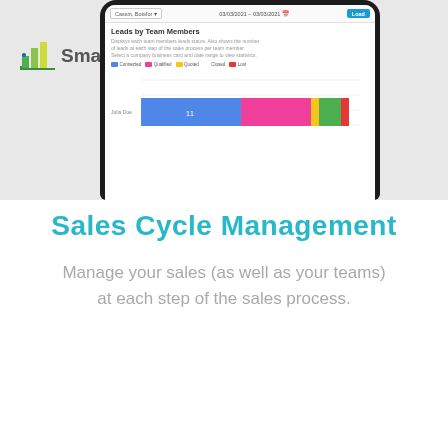[Figure (screenshot): SmartAss app logo with bar chart icon and app name in the top left, phone screenshot showing 'Leads by Team Members' chart with horizontal stacked bar for Julia Doe showing Connected, Qualified, Quoted, Closed, and Lost segments]
Sales Cycle Management
Manage your sales (as well as your teams) at each step of the sales process.